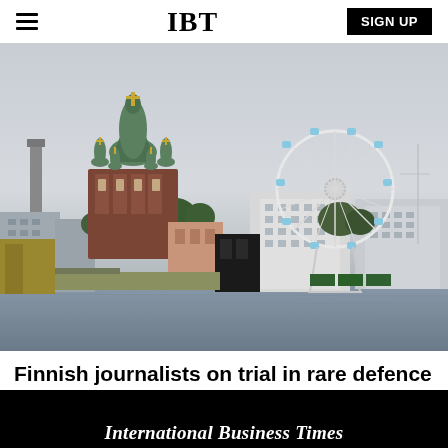IBT  SIGN UP
[Figure (photo): Helsinki waterfront cityscape with Uspenski Cathedral (red brick building with green domes) on the left and a large Ferris wheel on the right, viewed from across the water.]
Finnish journalists on trial in rare defence intelligence case
International Business Times